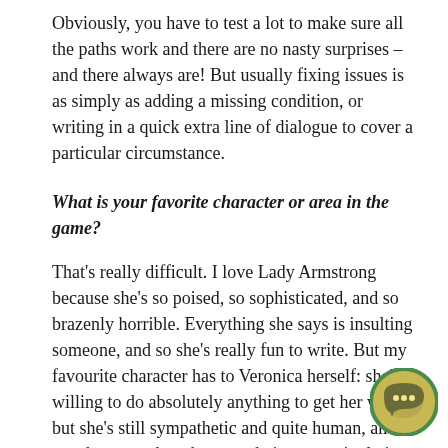Obviously, you have to test a lot to make sure all the paths work and there are no nasty surprises – and there always are! But usually fixing issues is as simply as adding a missing condition, or writing in a quick extra line of dialogue to cover a particular circumstance.
What is your favorite character or area in the game?
That's really difficult. I love Lady Armstrong because she's so poised, so sophisticated, and so brazenly horrible. Everything she says is insulting someone, and so she's really fun to write. But my favourite character has to Veronica herself: she's willing to do absolutely anything to get her way, but she's still sympathetic and quite human, and is caught somewhere between being a manipulative genius
[Figure (illustration): A circular chat/messaging button icon with a green border on a tan/gold background, featuring a speech bubble with three dots inside, positioned in the bottom-right corner of the page.]